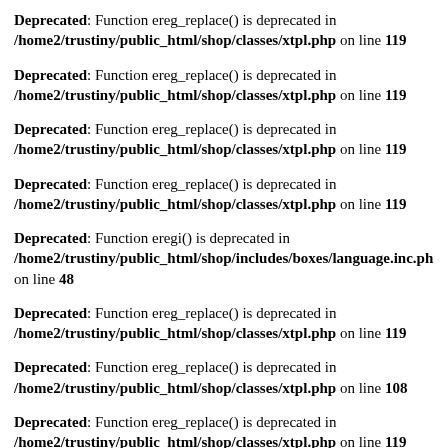Deprecated: Function ereg_replace() is deprecated in /home2/trustiny/public_html/shop/classes/xtpl.php on line 119
Deprecated: Function ereg_replace() is deprecated in /home2/trustiny/public_html/shop/classes/xtpl.php on line 119
Deprecated: Function ereg_replace() is deprecated in /home2/trustiny/public_html/shop/classes/xtpl.php on line 119
Deprecated: Function ereg_replace() is deprecated in /home2/trustiny/public_html/shop/classes/xtpl.php on line 119
Deprecated: Function eregi() is deprecated in /home2/trustiny/public_html/shop/includes/boxes/language.inc.php on line 48
Deprecated: Function ereg_replace() is deprecated in /home2/trustiny/public_html/shop/classes/xtpl.php on line 119
Deprecated: Function ereg_replace() is deprecated in /home2/trustiny/public_html/shop/classes/xtpl.php on line 108
Deprecated: Function ereg_replace() is deprecated in /home2/trustiny/public_html/shop/classes/xtpl.php on line 119